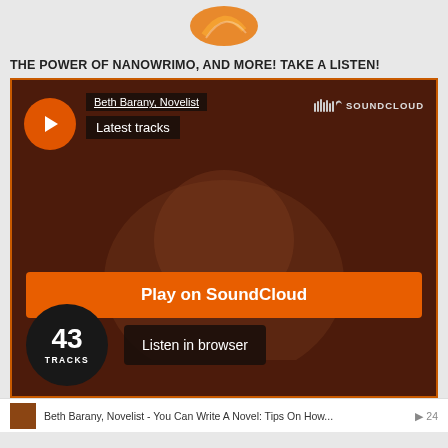[Figure (logo): Partial orange logo/icon at top center]
THE POWER OF NANOWRIMO, AND MORE! TAKE A LISTEN!
[Figure (screenshot): SoundCloud embedded player widget showing Beth Barany, Novelist - Latest tracks. Orange play button, 43 tracks circle, Play on SoundCloud button, Listen in browser button. Dark reddish-brown background with person's face visible.]
Beth Barany, Novelist - You Can Write A Novel: Tips On How... ▶ 24